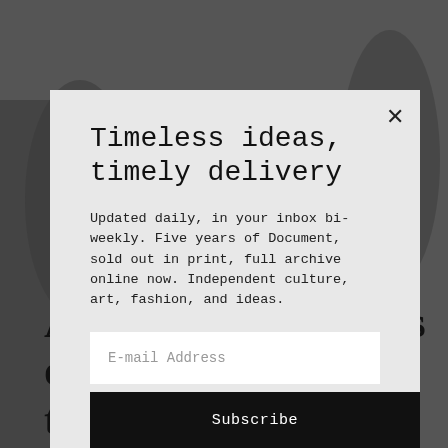[Figure (photo): Grayscale background photograph of people, partially obscured by modal overlay]
Timeless ideas, timely delivery
Updated daily, in your inbox bi-weekly. Five years of Document, sold out in print, full archive online now. Independent culture, art, fashion, and ideas.
E-mail Address
Subscribe
Take me to the new DocumentJournal.com
Aletti on the process of the picture